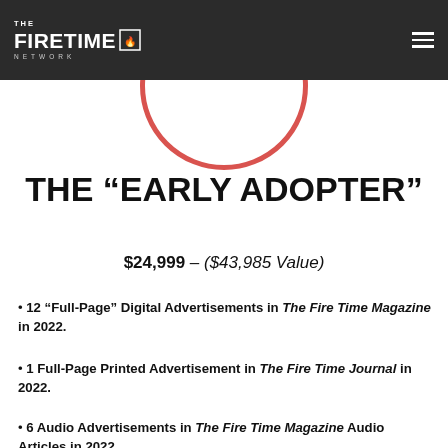THE FIRETIME NETWORK
[Figure (logo): The Fire Time Network logo with partial circle graphic in background, dark gray header bar with hamburger menu icon]
THE "EARLY ADOPTER"
$24,999 – ($43,985 Value)
12 "Full-Page" Digital Advertisements in The Fire Time Magazine in 2022.
1 Full-Page Printed Advertisement in The Fire Time Journal in 2022.
6 Audio Advertisements in The Fire Time Magazine Audio Articles in 2022.